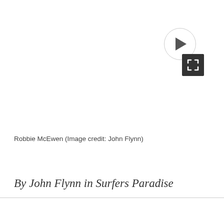[Figure (other): Play button circle icon in top right corner]
[Figure (other): Expand/fullscreen icon button (dark square with arrows) in lower right]
Robbie McEwen (Image credit: John Flynn)
By John Flynn in Surfers Paradise